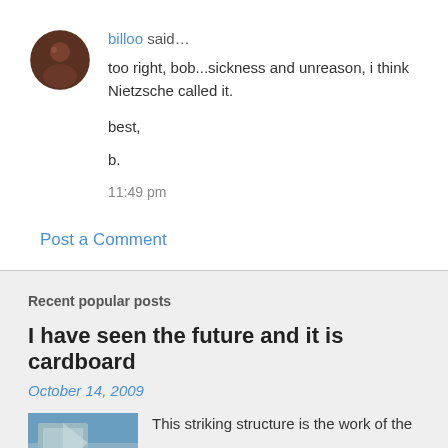[Figure (photo): Circular avatar photo of user billoo, dark reddish-brown tones]
billoo said…
too right, bob...sickness and unreason, i think Nietzsche called it.

best,

b.
11:49 pm
Post a Comment
Recent popular posts
I have seen the future and it is cardboard
October 14, 2009
[Figure (photo): Thumbnail photo of a striking structure, blue sky background]
This striking structure is the work of the